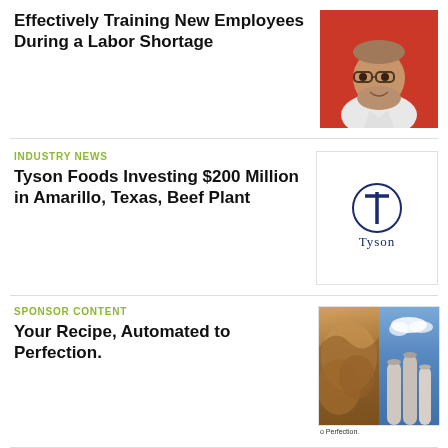Effectively Training New Employees During a Labor Shortage
[Figure (photo): Portrait of a smiling middle-aged man with glasses and a beard, wearing a white shirt, against a red background]
INDUSTRY NEWS
Tyson Foods Investing $200 Million in Amarillo, Texas, Beef Plant
[Figure (logo): Tyson Foods logo: circle with T inside and 'Tyson' text below in dark blue]
SPONSOR CONTENT
Your Recipe, Automated to Perfection.
[Figure (photo): Split image: left side shows close-up of bread loaves, right side shows industrial grain silos against blue sky, with caption 'o Perfection.']